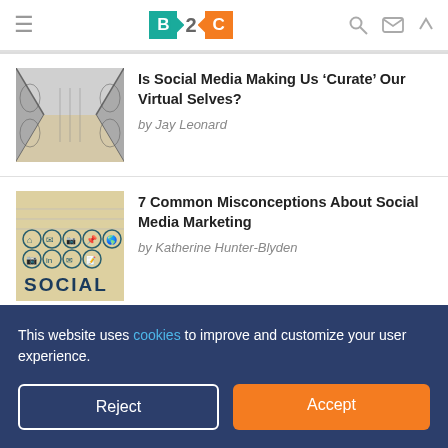B2C
[Figure (screenshot): Thumbnail image of a hallway with black and white swirling wall patterns]
Is Social Media Making Us ‘Curate’ Our Virtual Selves?
by Jay Leonard
[Figure (screenshot): Thumbnail image of a notebook page with social media icons and the word SOCIAL written in marker]
7 Common Misconceptions About Social Media Marketing
by Katherine Hunter-Blyden
This website uses cookies to improve and customize your user experience.
Reject
Accept